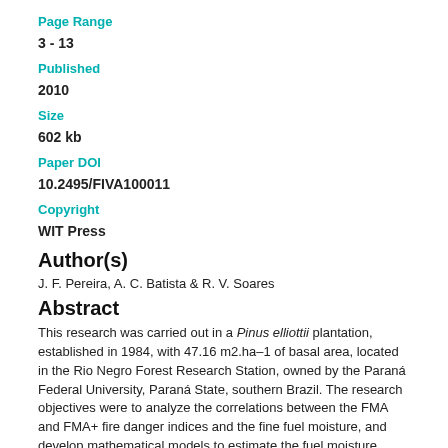Page Range
3 - 13
Published
2010
Size
602 kb
Paper DOI
10.2495/FIVA100011
Copyright
WIT Press
Author(s)
J. F. Pereira, A. C. Batista & R. V. Soares
Abstract
This research was carried out in a Pinus elliottii plantation, established in 1984, with 47.16 m2.ha–1 of basal area, located in the Rio Negro Forest Research Station, owned by the Paraná Federal University, Paraná State, southern Brazil. The research objectives were to analyze the correlations between the FMA and FMA+ fire danger indices and the fine fuel moisture, and develop mathematical models to estimate the fuel moisture based on those indices. The meteorological variables were obtained from the SIMEPAR weather station, located 50km away, and from a pluviograph and a thermo-hygrograph installed in the study area. The dead forest fuels were collected from 30x30cm plots, between 12 noon